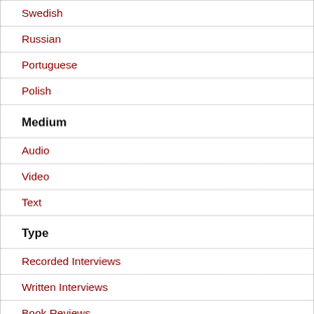Swedish
Russian
Portuguese
Polish
Medium
Audio
Video
Text
Type
Recorded Interviews
Written Interviews
Book Reviews
Liars and Outliers
Schneier on Security
Beyond Fear
Click Here to Kill Everybody
Applied Cryptography